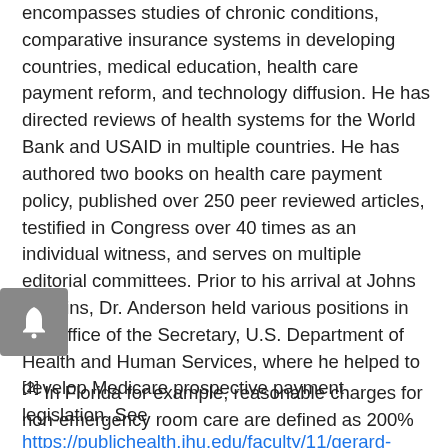encompasses studies of chronic conditions, comparative insurance systems in developing countries, medical education, health care payment reform, and technology diffusion. He has directed reviews of health systems for the World Bank and USAID in multiple countries. He has authored two books on health care payment policy, published over 250 peer reviewed articles, testified in Congress over 40 times as an individual witness, and serves on multiple editorial committees. Prior to his arrival at Johns Hopkins, Dr. Anderson held various positions in the Office of the Secretary, U.S. Department of Health and Human Services, where he helped to develop Medicare prospective payment legislation. See https://publichealth.jhu.edu/faculty/11/gerard-anderson
[2] In Florida for example, reasonable charges for non-emergency room care are defined as 200%